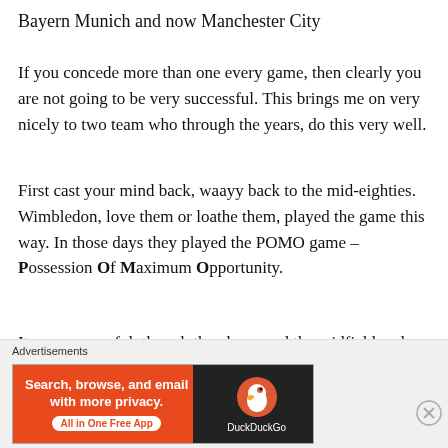Bayern Munich and now Manchester City
If you concede more than one every game, then clearly you are not going to be very successful. This brings me on very nicely to two team who through the years, do this very well.
First cast your mind back, waayy back to the mid-eighties. Wimbledon, love them or loathe them, played the game this way. In those days they played the POMO game – Possession Of Maximum Opportunity.
It was successful, though they bypassed the midfield and relied on winning second balls, they gained lots of promotions this way and won an FA Cup Final in 1988 against Liverpool thanks to a Lawrie Sanchez goal.
[Figure (other): DuckDuckGo advertisement banner: 'Search, browse, and email with more privacy. All in One Free App' on orange background with DuckDuckGo logo on dark background.]